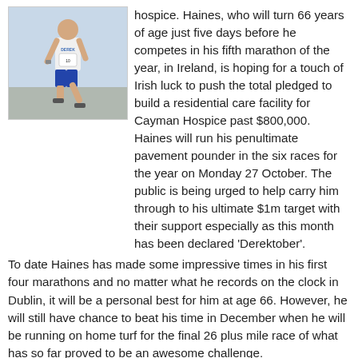[Figure (photo): A man running in a marathon wearing a white shirt with 'DEREK' on it and blue shorts, with a race number bib.]
hospice. Haines, who will turn 66 years of age just five days before he competes in his fifth marathon of the year, in Ireland, is hoping for a touch of Irish luck to push the total pledged to build a residential care facility for Cayman Hospice past $800,000. Haines will run his penultimate pavement pounder in the six races for the year on Monday 27 October. The public is being urged to help carry him through to his ultimate $1m target with their support especially as this month has been declared 'Derektober'.
To date Haines has made some impressive times in his first four marathons and no matter what he records on the clock in Dublin, it will be a personal best for him at age 66. However, he will still have chance to beat his time in December when he will be running on home turf for the final 26 plus mile race of what has so far proved to be an awesome challenge.
Haines' Six4hospice has won the admiration and respect of the community and people have been digging deep to help him raise what is a lot of cash. This month Jacques Scott open their Cocktail week with a Jame Bond 'Shaken not Stirred' night at the Grand Old House with $50 from the $75 going to the fund. Also Blackbeards and Big Daddy's are donating a percentage of their takings during 'Derektober'.
The 35th Dublin marathon will be a cool change for Haines who does his